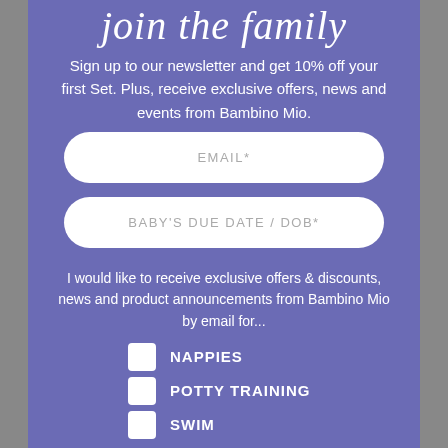join the family
Sign up to our newsletter and get 10% off your first Set. Plus, receive exclusive offers, news and events from Bambino Mio.
EMAIL*
BABY'S DUE DATE / DOB*
I would like to receive exclusive offers & discounts, news and product announcements from Bambino Mio by email for...
NAPPIES
POTTY TRAINING
SWIM